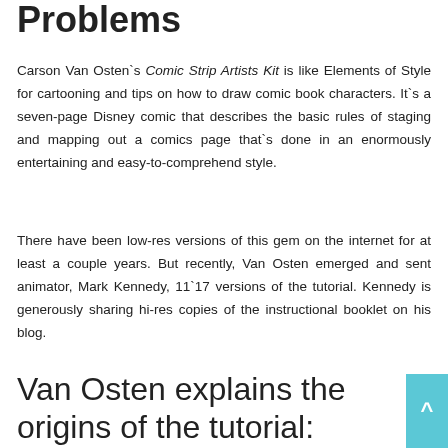Problems
Carson Van Osten`s Comic Strip Artists Kit is like Elements of Style for cartooning and tips on how to draw comic book characters. It`s a seven-page Disney comic that describes the basic rules of staging and mapping out a comics page that`s done in an enormously entertaining and easy-to-comprehend style.
There have been low-res versions of this gem on the internet for at least a couple years. But recently, Van Osten emerged and sent animator, Mark Kennedy, 11`17 versions of the tutorial. Kennedy is generously sharing hi-res copies of the instructional booklet on his blog.
Van Osten explains the origins of the tutorial: